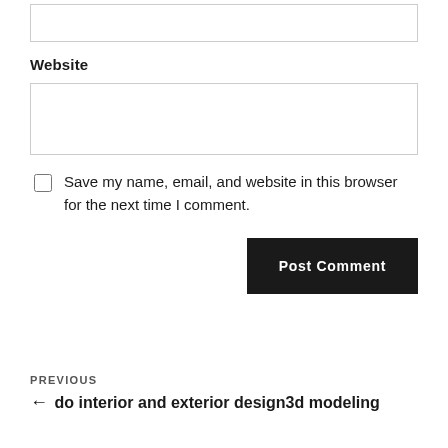Website
Save my name, email, and website in this browser for the next time I comment.
Post Comment
PREVIOUS
← do interior and exterior design3d modeling